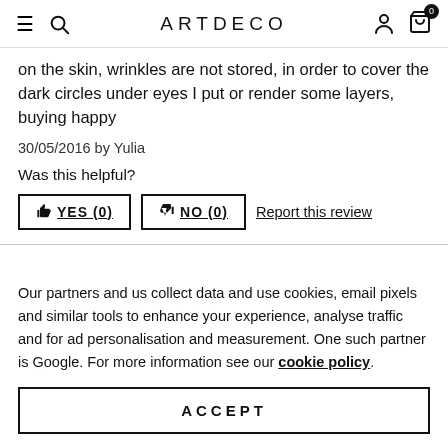ARTDECO
on the skin, wrinkles are not stored, in order to cover the dark circles under eyes I put or render some layers, buying happy
30/05/2016 by Yulia
Was this helpful?
YES (0)  NO (0)  Report this review
Our partners and us collect data and use cookies, email pixels and similar tools to enhance your experience, analyse traffic and for ad personalisation and measurement. One such partner is Google. For more information see our cookie policy.
ACCEPT